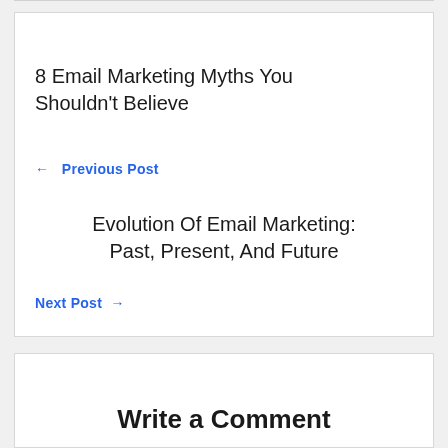8 Email Marketing Myths You Shouldn't Believe
← Previous Post
Evolution Of Email Marketing: Past, Present, And Future
Next Post →
Write a Comment